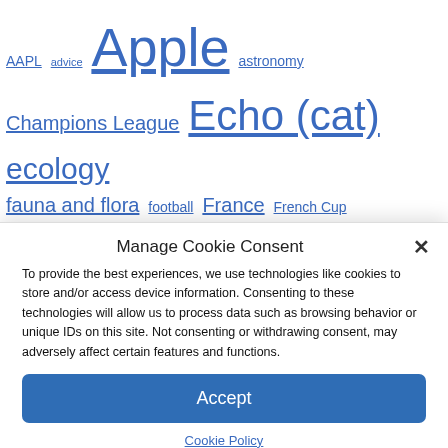[Figure (other): Tag cloud with various clickable tags in different sizes, all in blue underlined text: AAPL, advice, Apple, astronomy, Champions League, Echo (cat), ecology, fauna and flora, football, France, French Cup, google, guide, health, iMac, Information, investment, iPhone, iPod, league, League 1, mac, MacBook, Macbook Air, Macbook Pro, macintosh, news, oh]
Manage Cookie Consent
To provide the best experiences, we use technologies like cookies to store and/or access device information. Consenting to these technologies will allow us to process data such as browsing behavior or unique IDs on this site. Not consenting or withdrawing consent, may adversely affect certain features and functions.
Accept
Cookie Policy